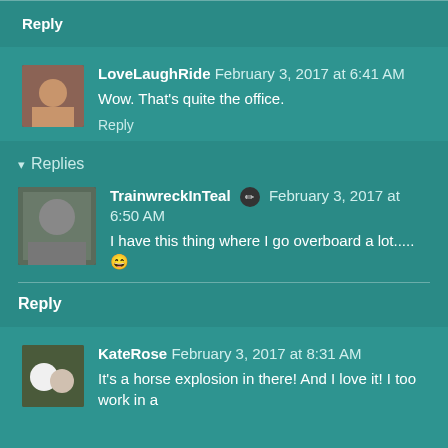Reply
LoveLaughRide  February 3, 2017 at 6:41 AM
Wow. That's quite the office.
Reply
Replies
TrainwreckInTeal  February 3, 2017 at 6:50 AM
I have this thing where I go overboard a lot..... 😄
Reply
KateRose  February 3, 2017 at 8:31 AM
It's a horse explosion in there! And I love it! I too work in a